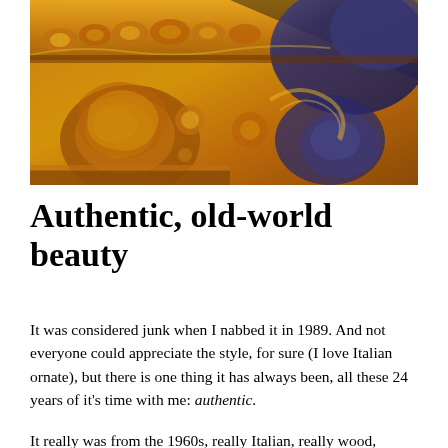[Figure (photo): Close-up photograph of an ornate gilded picture frame with Italian baroque-style decorative carvings, showing gold and blue tones with intricate scrollwork and floral motifs.]
Authentic, old-world beauty
It was considered junk when I nabbed it in 1989.  And not everyone could appreciate the style, for sure (I love Italian ornate), but there is one thing it has always been, all these 24 years of it's time with me: authentic.
It really was from the 1960s, really Italian, really wood,